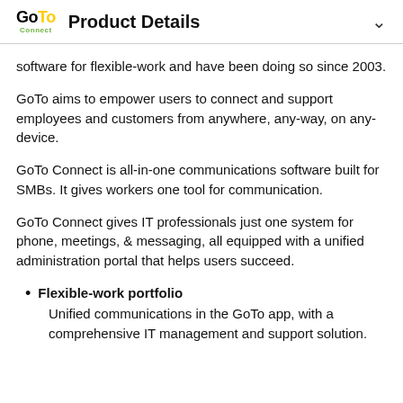GoTo Connect — Product Details
software for flexible-work and have been doing so since 2003.
GoTo aims to empower users to connect and support employees and customers from anywhere, any-way, on any-device.
GoTo Connect is all-in-one communications software built for SMBs. It gives workers one tool for communication.
GoTo Connect gives IT professionals just one system for phone, meetings, & messaging, all equipped with a unified administration portal that helps users succeed.
Flexible-work portfolio
Unified communications in the GoTo app, with a comprehensive IT management and support solution.